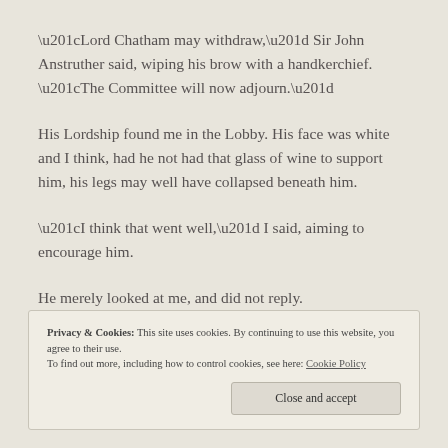“Lord Chatham may withdraw,” Sir John Anstruther said, wiping his brow with a handkerchief. “The Committee will now adjourn.”
His Lordship found me in the Lobby. His face was white and I think, had he not had that glass of wine to support him, his legs may well have collapsed beneath him.
“I think that went well,” I said, aiming to encourage him.
He merely looked at me, and did not reply.
Privacy & Cookies: This site uses cookies. By continuing to use this website, you agree to their use. To find out more, including how to control cookies, see here: Cookie Policy
Close and accept